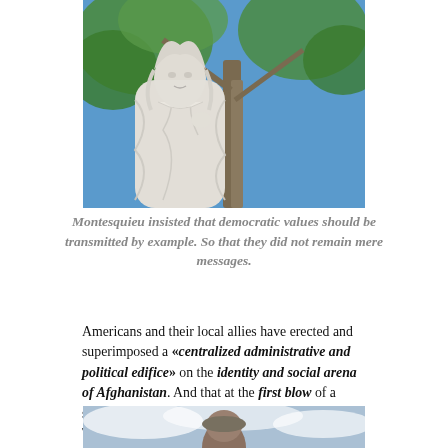[Figure (photo): Close-up photograph of a marble statue (Montesquieu) with robes and curled wig, set against a background of tree branches and blue sky]
Montesquieu insisted that democratic values should be transmitted by example. So that they did not remain mere messages.
Americans and their local allies have erected and superimposed a «centralized administrative and political edifice» on the identity and social arena of Afghanistan. And that at the first blow of a serious economic or social setback or of the Taliban military battering ram, it will start to throw out of balance, crack and sink in the eyes of everyone.
[Figure (photo): Partial photograph of a person in outdoor setting with cloudy sky background]